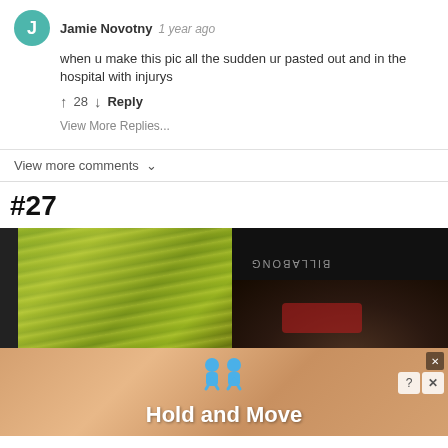Jamie Novotny  1 year ago
when u make this pic all the sudden ur pasted out and in the hospital with injurys
↑ 28 ↓  Reply
View More Replies...
View more comments ∨
#27
[Figure (photo): Two side-by-side photos: left shows a water surface with green reflections and a dark edge; right shows a dark background with a person's head of dark hair and a red cap, with text 'BILLABONG' visible]
[Figure (screenshot): Advertisement banner for 'Hold and Move' app with blue figure icons on a wooden background, with close and help buttons]